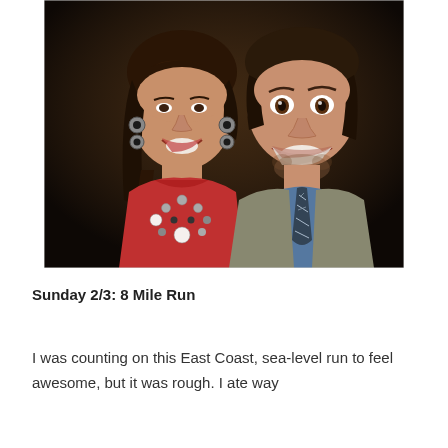[Figure (photo): A smiling woman with dark hair in a braid wearing a red dress and circular black and white earrings with a beaded necklace, posing with a smiling man wearing a light gray suit jacket, blue shirt, and patterned black and white tie. The background is dark.]
Sunday 2/3: 8 Mile Run
I was counting on this East Coast, sea-level run to feel awesome, but it was rough. I ate way